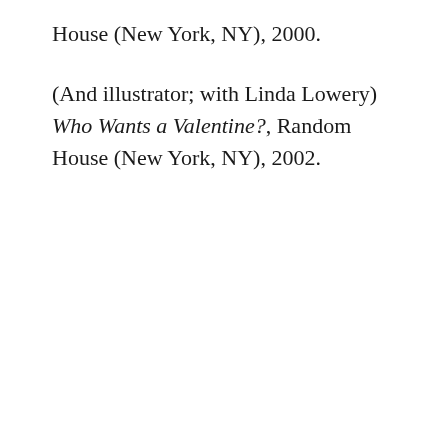House (New York, NY), 2000.
(And illustrator; with Linda Lowery) Who Wants a Valentine?, Random House (New York, NY), 2002.